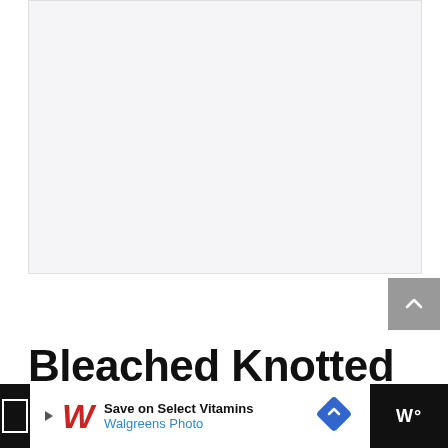[Figure (photo): Large white/light gray empty image area representing a product photo placeholder]
Bleached Knotted Braided
[Figure (screenshot): Advertisement bar at the bottom: Walgreens Photo ad 'Save on Select Vitamins' with navigation icon and right-side media controls]